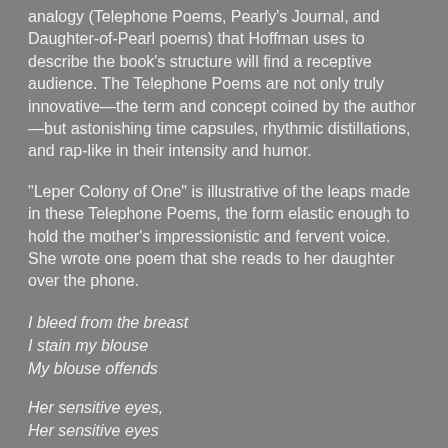analogy (Telephone Poems, Pearly's Journal, and Daughter-of-Pearl poems) that Hoffman uses to describe the book's structure will find a receptive audience. The Telephone Poems are not only truly innovative—the term and concept coined by the author—but astonishing time capsules, rhythmic distillations, and rap-like in their intensity and humor.
“Leper Colony of One” is illustrative of the leaps made in these Telephone Poems, the form elastic enough to hold the mother’s impressionistic and fervent voice.  She wrote one poem that she reads to her daughter over the phone.
I bleed from the breast
I stain my blouse
My blouse offends
Her sensitive eyes,
Her sensitive eyes
Reproach
My daring to exist --
Not whole.